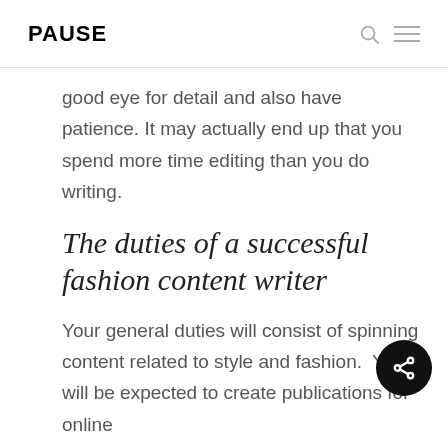PAUSE
good eye for detail and also have patience. It may actually end up that you spend more time editing than you do writing.
The duties of a successful fashion content writer
Your general duties will consist of spinning content related to style and fashion.  You will be expected to create publications for online